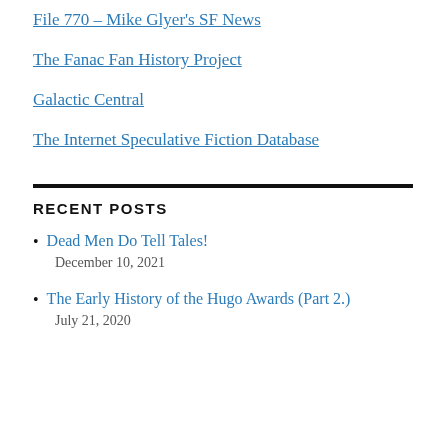File 770 – Mike Glyer's SF News
The Fanac Fan History Project
Galactic Central
The Internet Speculative Fiction Database
RECENT POSTS
Dead Men Do Tell Tales!
December 10, 2021
The Early History of the Hugo Awards (Part 2.)
July 21, 2020